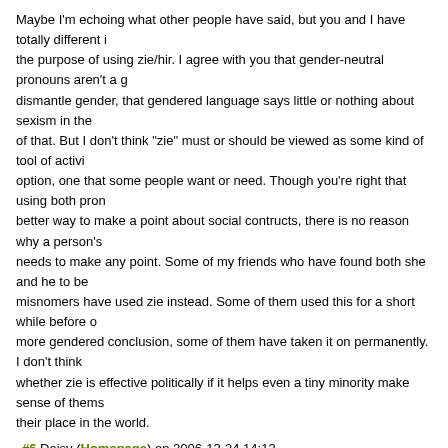Maybe I'm echoing what other people have said, but you and I have totally different ideas about the purpose of using zie/hir. I agree with you that gender-neutral pronouns aren't a good way to dismantle gender, that gendered language says little or nothing about sexism in the world, and all of that. But I don't think "zie" must or should be viewed as some kind of tool of activism; it's an option, one that some people want or need. Though you're right that using both pronouns is a better way to make a point about social contructs, there is no reason why a person's pronoun needs to make any point. Some of my friends who have found both she and he to be uncomfortable misnomers have used zie instead. Some of them used this for a short while before coming to a more gendered conclusion, some of them have taken it on permanently. I don't think it matters whether zie is effective politically if it helps even a tiny minority make sense of themselves and their place in the world.
#6 Daisy (Homepage) on 2006-12-24 14:13
Um, &#20182; and &#22905; look pretty different to me. One has a 'person' radical (他), one has a 'woman' radical (her. Not necessarily a person, I guess). Both phonetics are the same 'ta' yes, and so is 'it': &#23427;. A pedantic point perhaps, but then, the most extreme critical-theoretic arguments shouldn't have to depend on empirical evidence I suppose.
#7 tze ming (Homepage) on 2007-02-04 07:11
great post. totally agree. I've made a similar argument, but much less detailed at...